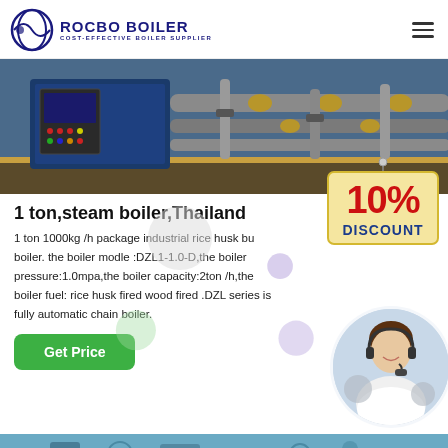ROCBO BOILER - COST-EFFECTIVE BOILER SUPPLIER
[Figure (photo): Industrial steam boiler equipment with blue control panel and piping system]
1 ton,steam boiler,Thailand
[Figure (illustration): 10% DISCOUNT sign hanging badge]
1 ton 1000kg /h package industrial rice husk bu boiler. the boiler modle :DZL1-1.0-D,the boiler pressure:1.0mpa,the boiler capacity:2ton /h,the boiler fuel: rice husk fired wood fired .DZL series is fully automatic chain boiler.
[Figure (photo): Customer service representative with headset smiling]
[Figure (photo): Industrial boiler equipment bottom partial view]